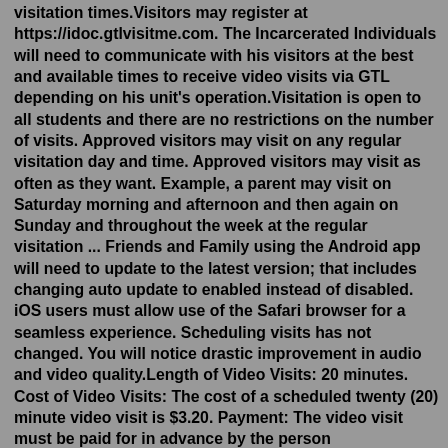visitation times.Visitors may register at https://idoc.gtlvisitme.com. The Incarcerated Individuals will need to communicate with his visitors at the best and available times to receive video visits via GTL depending on his unit's operation.Visitation is open to all students and there are no restrictions on the number of visits. Approved visitors may visit on any regular visitation day and time. Approved visitors may visit as often as they want. Example, a parent may visit on Saturday morning and afternoon and then again on Sunday and throughout the week at the regular visitation ... Friends and Family using the Android app will need to update to the latest version; that includes changing auto update to enabled instead of disabled. iOS users must allow use of the Safari browser for a seamless experience. Scheduling visits has not changed. You will notice drastic improvement in audio and video quality.Length of Video Visits: 20 minutes. Cost of Video Visits: The cost of a scheduled twenty (20) minute video visit is $3.20. Payment: The video visit must be paid for in advance by the person